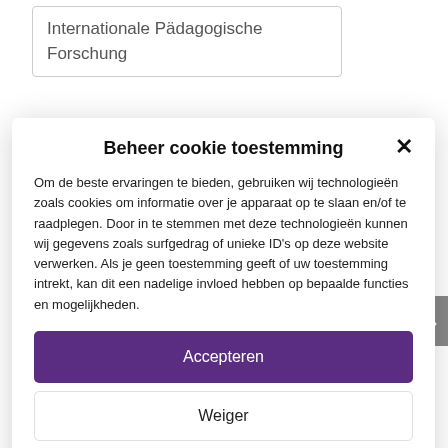Internationale Pädagogische Forschung
Beheer cookie toestemming
Om de beste ervaringen te bieden, gebruiken wij technologieën zoals cookies om informatie over je apparaat op te slaan en/of te raadplegen. Door in te stemmen met deze technologieën kunnen wij gegevens zoals surfgedrag of unieke ID's op deze website verwerken. Als je geen toestemming geeft of uw toestemming intrekt, kan dit een nadelige invloed hebben op bepaalde functies en mogelijkheden.
Accepteren
Weiger
Bekijk voorkeuren
Cookiebeleid  Privacy policy